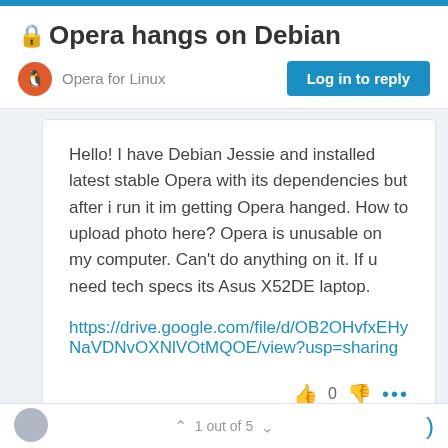Opera hangs on Debian
Opera for Linux
Hello! I have Debian Jessie and installed latest stable Opera with its dependencies but after i run it im getting Opera hanged. How to upload photo here? Opera is unusable on my computer. Can't do anything on it. If u need tech specs its Asus X52DE laptop.
https://drive.google.com/file/d/OB2OHvfxEHyNaVDNvOXNlVOtMQOE/view?usp=sharing
1 out of 5